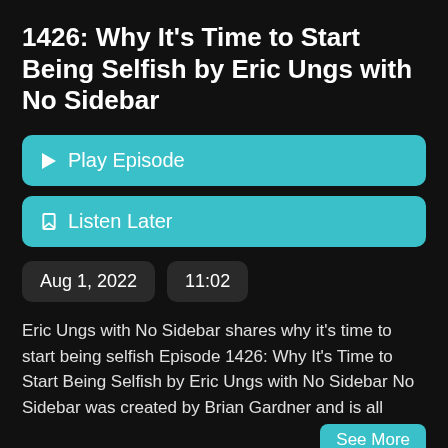1426: Why It's Time to Start Being Selfish by Eric Ungs with No Sidebar
Play Episode
Listen Later
Aug 1, 2022
11:02
Eric Ungs with No Sidebar shares why it's time to start being selfish Episode 1426: Why It's Time to Start Being Selfish by Eric Ungs with No Sidebar No Sidebar was created by Brian Gardner and is all
See More
# time
# selfish
brian gardner
# no sidebar
# oldpodcast